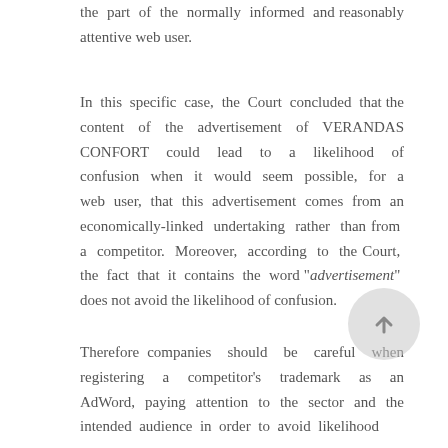the part of the normally informed and reasonably attentive web user.
In this specific case, the Court concluded that the content of the advertisement of VERANDAS CONFORT could lead to a likelihood of confusion when it would seem possible, for a web user, that this advertisement comes from an economically-linked undertaking rather than from a competitor. Moreover, according to the Court, the fact that it contains the word "“advertisement”" does not avoid the likelihood of confusion.
Therefore companies should be careful when registering a competitor’s trademark as an AdWord, paying attention to the sector and the intended audience in order to avoid likelihood